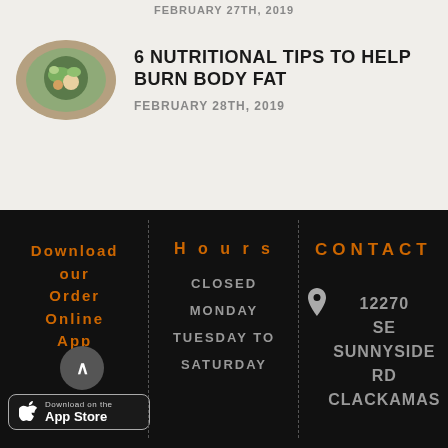FEBRUARY 27TH, 2019
6 NUTRITIONAL TIPS TO HELP BURN BODY FAT
FEBRUARY 28TH, 2019
[Figure (photo): Oval food photo showing a bowl with healthy food items]
Download our Order Online App
Hours
CLOSED
MONDAY
TUESDAY TO
SATURDAY
CONTACT
12270 SE SUNNYSIDE RD CLACKAMAS
[Figure (logo): Apple App Store download button]